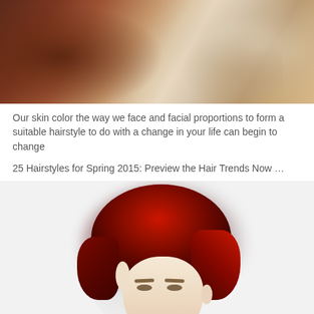[Figure (photo): Top portion of a photo showing a person with reddish-brown hair, wearing a white knit sweater, viewed from behind/side angle]
Our skin color the way we face and facial proportions to form a suitable hairstyle to do with a change in your life can begin to change
25 Hairstyles for Spring 2015: Preview the Hair Trends Now …
[Figure (photo): Portrait photo of a woman with voluminous deep red/crimson short curly pixie hairstyle, wearing red lipstick, with dramatic eye makeup, photographed against a light background]